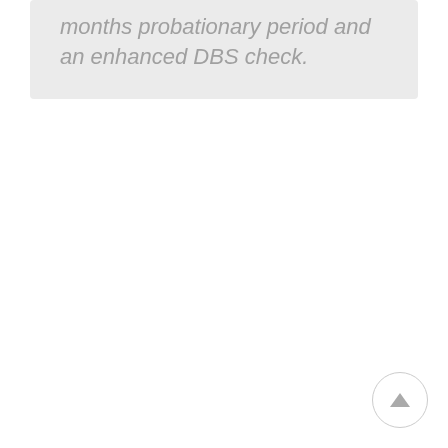months probationary period and an enhanced DBS check.
[Figure (other): Scroll-to-top button: a circular button with an upward-pointing triangle/arrow icon, positioned in the bottom-right corner of the page.]